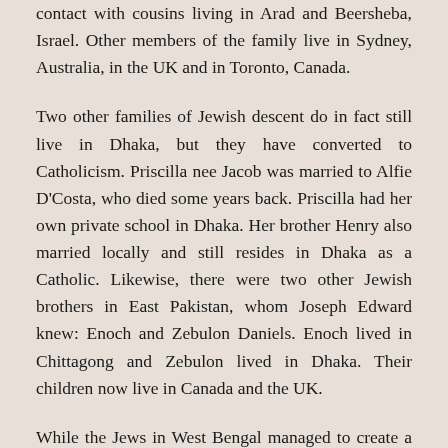contact with cousins living in Arad and Beersheba, Israel. Other members of the family live in Sydney, Australia, in the UK and in Toronto, Canada.
Two other families of Jewish descent do in fact still live in Dhaka, but they have converted to Catholicism. Priscilla nee Jacob was married to Alfie D'Costa, who died some years back. Priscilla had her own private school in Dhaka. Her brother Henry also married locally and still resides in Dhaka as a Catholic. Likewise, there were two other Jewish brothers in East Pakistan, whom Joseph Edward knew: Enoch and Zebulon Daniels. Enoch lived in Chittagong and Zebulon lived in Dhaka. Their children now live in Canada and the UK.
While the Jews in West Bengal managed to create a full community, the Jews of East Bengal largely lived there for commercial reasons. They were never numerous